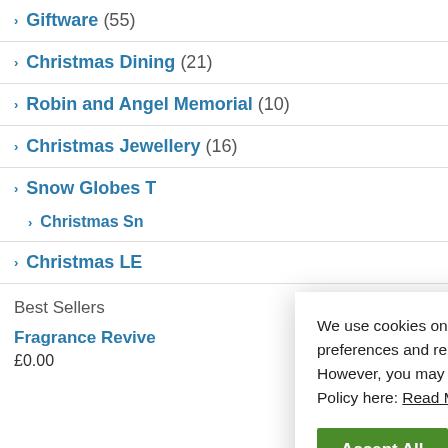> Giftware (55)
> Christmas Dining (21)
> Robin and Angel Memorial (10)
> Christmas Jewellery (16)
> Snow Globes T[runcated]
> Christmas Sn[truncated]
> Christmas LE[truncated]
Best Sellers
Fragrance Revive
We use cookies on our website to give you the most relevant experience by remembering your preferences and repeat visits. By clicking "Accept All", you consent to the use of ALL the cookies. However, you may visit "Cookie Settings" to provide a controlled consent. Read our Privacy Policy here: Read More
Accept All   Settings